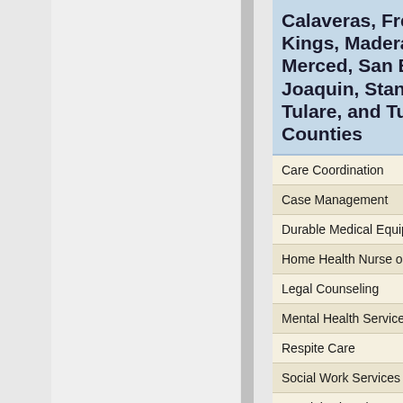Calaveras, Fresno, Kings, Madera, Merced, San Bernardino, San Joaquin, Stanislaus, Tulare, and Tuolumne Counties
Care Coordination
Case Management
Durable Medical Equipment
Home Health Nurse or Aid
Legal Counseling
Mental Health Services
Respite Care
Social Work Services
Special Education Services